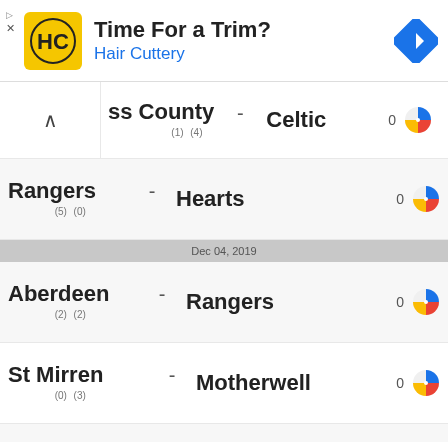[Figure (infographic): Hair Cuttery advertisement banner with logo, 'Time For a Trim?' headline, and navigation icon]
ss County - Celtic (1) (4) 0
Rangers - Hearts (5) (0) 0
Dec 04, 2019
Aberdeen - Rangers (2) (2) 0
St Mirren - Motherwell (0) (3) 0
Hearts - Livingston (1) (1) 0